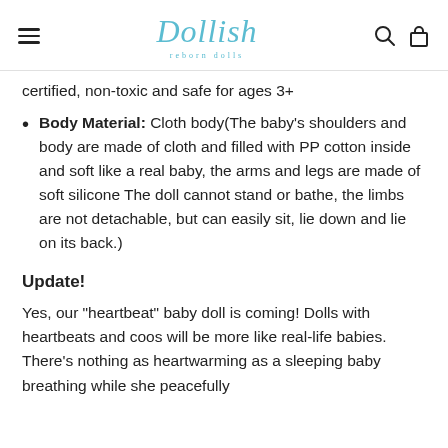Dollish
certified, non-toxic and safe for ages 3+
Body Material: Cloth body(The baby's shoulders and body are made of cloth and filled with PP cotton inside and soft like a real baby, the arms and legs are made of soft silicone The doll cannot stand or bathe, the limbs are not detachable, but can easily sit, lie down and lie on its back.)
Update!
Yes, our "heartbeat" baby doll is coming! Dolls with heartbeats and coos will be more like real-life babies. There's nothing as heartwarming as a sleeping baby breathing while she peacefully